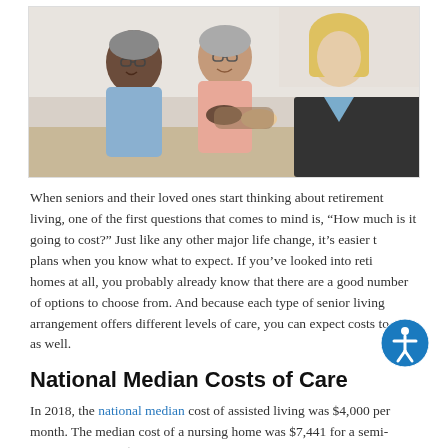[Figure (photo): Photo of two elderly people (a man and a woman) shaking hands with a blonde professional woman in a business jacket, suggesting a consultation or agreement meeting.]
When seniors and their loved ones start thinking about retirement living, one of the first questions that comes to mind is, “How much is it going to cost?” Just like any other major life change, it’s easier to plans when you know what to expect. If you’ve looked into retirement homes at all, you probably already know that there are a good number of options to choose from. And because each type of senior living arrangement offers different levels of care, you can expect costs to vary as well.
National Median Costs of Care
In 2018, the national median cost of assisted living was $4,000 per month. The median cost of a nursing home was $7,441 for a semi-private room and $8,365 per month for a private room. These figures